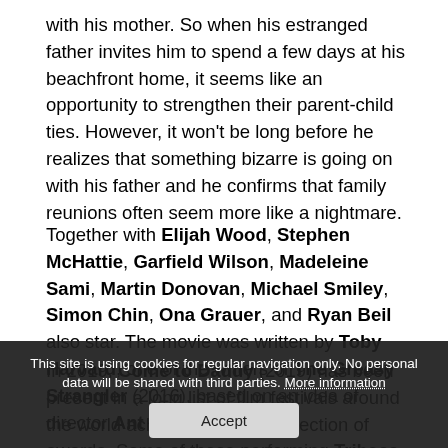with his mother. So when his estranged father invites him to spend a few days at his beachfront home, it seems like an opportunity to strengthen their parent-child ties. However, it won't be long before he realizes that something bizarre is going on with his father and he confirms that family reunions often seem more like a nightmare.
Together with Elijah Wood, Stephen McHattie, Garfield Wilson, Madeleine Sami, Martin Donovan, Michael Smiley, Simon Chin, Ona Grauer, and Ryan Beil also star. The movie was written by Toby Harvard, one of the writers of The Greasy Strangler (2016), based on an idea of director Ant Timpson.
In 2019, Come to Daddy (2019) has been present in a long list of film festivals around the world achieving a good collection of awards. Some of these performing Tribeca Film Festival, Sitges Film Festival, Bucheon International Fantastic Film Festival, Fantasia International Film Festival, New Zealand International Film
This site is using cookies for regular navigation only. No personal data will be shared with third parties. More information